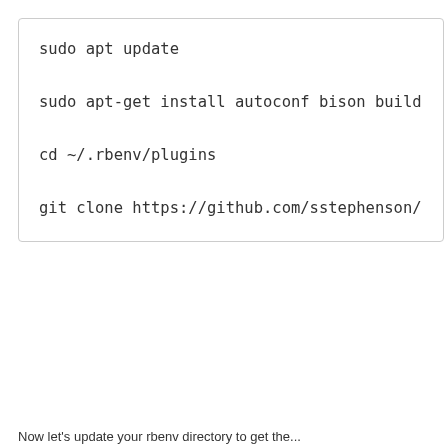sudo apt update
sudo apt-get install autoconf bison build-es
cd ~/.rbenv/plugins
git clone https://github.com/sstephenson/rbe
Now let's update your rbenv directory to get the...